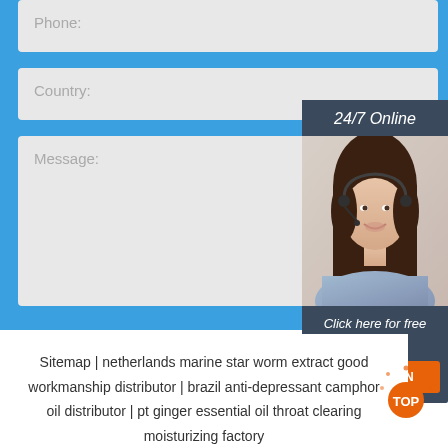Phone:
Country:
Message:
Submit Now
24/7 Online
[Figure (photo): Woman with headset smiling, customer service representative]
Click here for free chat !
QUOTATION
Sitemap | netherlands marine star worm extract good workmanship distributor | brazil anti-depressant camphor oil distributor | pt ginger essential oil throat clearing moisturizing factory
[Figure (logo): TOP badge with orange dot design]